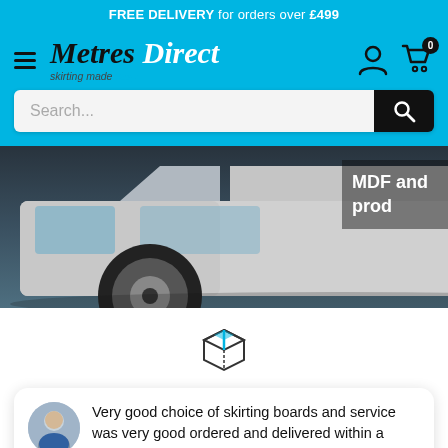FREE DELIVERY for orders over £499
[Figure (logo): Metres Direct logo with tagline 'skirting made easy', hamburger menu, user icon, and cart icon with 0 badge]
Search...
[Figure (photo): White delivery van parked, with text overlay 'MDF and prod' on the right side]
[Figure (illustration): Package/box icon outlined in black]
Very good choice of skirting boards and service was very good ordered and delivered within a week even using th...
★★★★★  4d